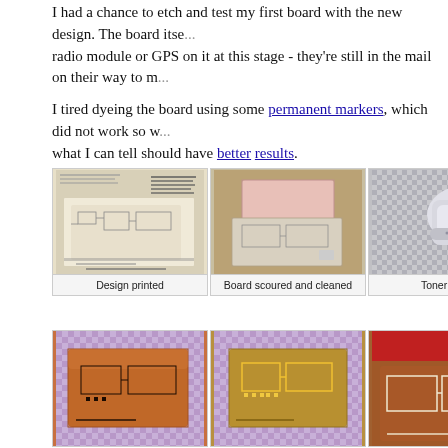I had a chance to etch and test my first board with the new design. The board itself doesn't have a radio module or GPS on it at this stage - they're still in the mail on their way to me.
I tired dyeing the board using some permanent markers, which did not work so well. I've since ordered what I can tell should have better results.
[Figure (photo): PCB design printed on paper showing circuit layout]
Design printed
[Figure (photo): Copper board scoured and cleaned, pink-tinted surface]
Board scoured and cleaned
[Figure (photo): Toner transfer process with iron visible]
Toner tra...
[Figure (photo): Copper PCB board after toner transfer on checkered cloth]
[Figure (photo): Etched PCB board showing golden traces on checkered cloth]
[Figure (photo): Partially visible etched PCB board with red background]